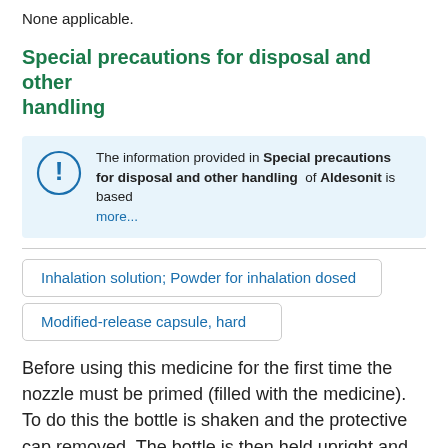None applicable.
Special precautions for disposal and other handling
The information provided in Special precautions for disposal and other handling of Aldesonit is based more...
Inhalation solution; Powder for inhalation dosed
Modified-release capsule, hard
Before using this medicine for the first time the nozzle must be primed (filled with the medicine). To do this the bottle is shaken and the protective cap removed. The bottle is then held upright and